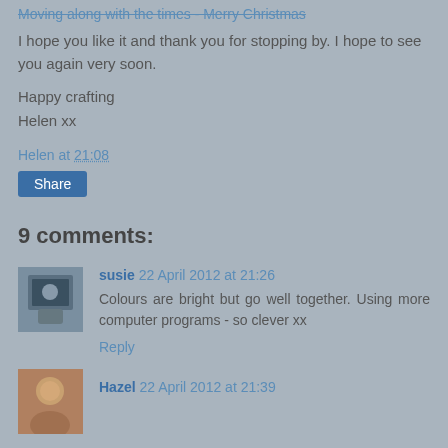Moving along with the times - Merry Christmas
I hope you like it and thank you for stopping by. I hope to see you again very soon.
Happy crafting
Helen xx
Helen at 21:08
Share
9 comments:
susie 22 April 2012 at 21:26
Colours are bright but go well together. Using more computer programs - so clever xx
Reply
Hazel 22 April 2012 at 21:39